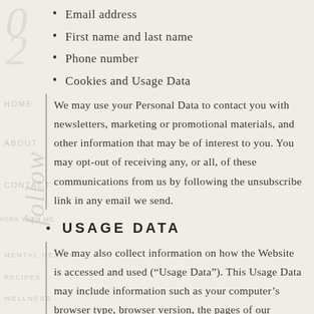Email address
First name and last name
Phone number
Cookies and Usage Data
We may use your Personal Data to contact you with newsletters, marketing or promotional materials, and other information that may be of interest to you. You may opt-out of receiving any, or all, of these communications from us by following the unsubscribe link in any email we send.
USAGE DATA
We may also collect information on how the Website is accessed and used (“Usage Data”). This Usage Data may include information such as your computer’s browser type, browser version, the pages of our